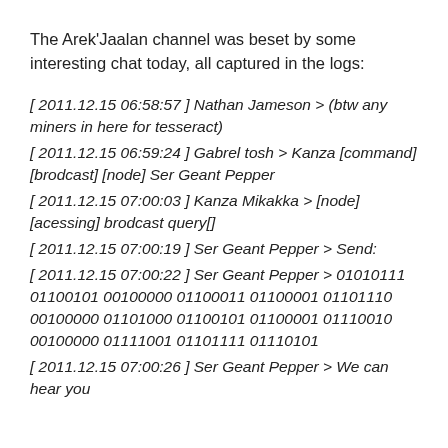The Arek'Jaalan channel was beset by some interesting chat today, all captured in the logs:
[ 2011.12.15 06:58:57 ] Nathan Jameson > (btw any miners in here for tesseract)
[ 2011.12.15 06:59:24 ] Gabrel tosh > Kanza [command] [brodcast] [node] Ser Geant Pepper
[ 2011.12.15 07:00:03 ] Kanza Mikakka > [node] [acessing] brodcast query[]
[ 2011.12.15 07:00:19 ] Ser Geant Pepper > Send:
[ 2011.12.15 07:00:22 ] Ser Geant Pepper > 01010111 01100101 00100000 01100011 01100001 01101110 00100000 01101000 01100101 01100001 01110010 00100000 01111001 01101111 01110101
[ 2011.12.15 07:00:26 ] Ser Geant Pepper > We can hear you